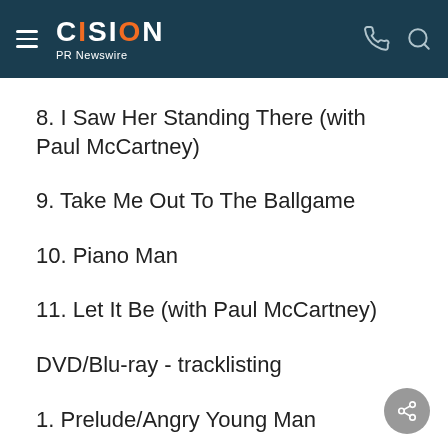CISION PR Newswire
8. I Saw Her Standing There (with Paul McCartney)
9. Take Me Out To The Ballgame
10. Piano Man
11. Let It Be (with Paul McCartney)
DVD/Blu-ray - tracklisting
1. Prelude/Angry Young Man